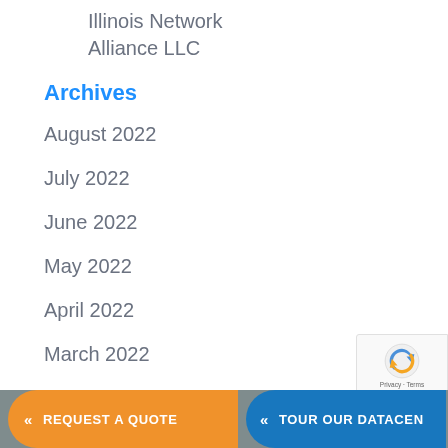Illinois Network
Alliance LLC
Archives
August 2022
July 2022
June 2022
May 2022
April 2022
March 2022
February 2022
January 2022
« REQUEST A QUOTE   « TOUR OUR DATACEN...